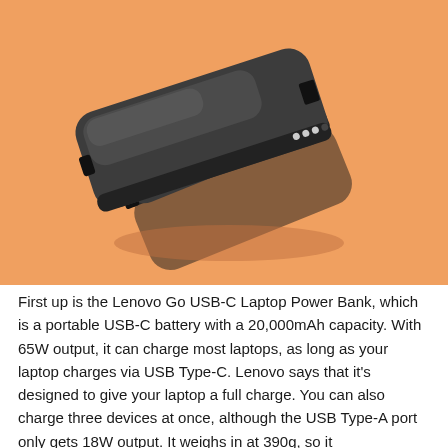[Figure (photo): Lenovo Go USB-C Laptop Power Bank on an orange background. The device is a sleek dark gray rectangular power bank with rounded corners, shown at a slight angle. It has a USB-C port on one side and LED indicator lights.]
First up is the Lenovo Go USB-C Laptop Power Bank, which is a portable USB-C battery with a 20,000mAh capacity. With 65W output, it can charge most laptops, as long as your laptop charges via USB Type-C. Lenovo says that it's designed to give your laptop a full charge. You can also charge three devices at once, although the USB Type-A port only gets 18W output. It weighs in at 390g, so it